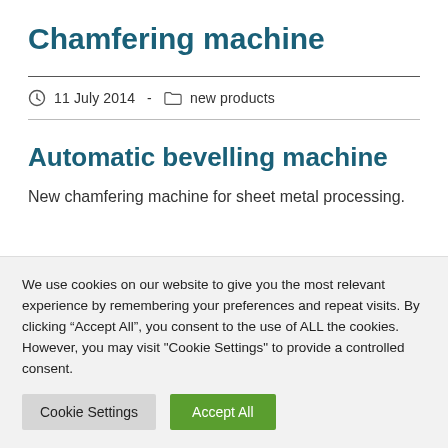Chamfering machine
11 July 2014  -  new products
Automatic bevelling machine
New chamfering machine for sheet metal processing.
We use cookies on our website to give you the most relevant experience by remembering your preferences and repeat visits. By clicking “Accept All”, you consent to the use of ALL the cookies. However, you may visit "Cookie Settings" to provide a controlled consent.